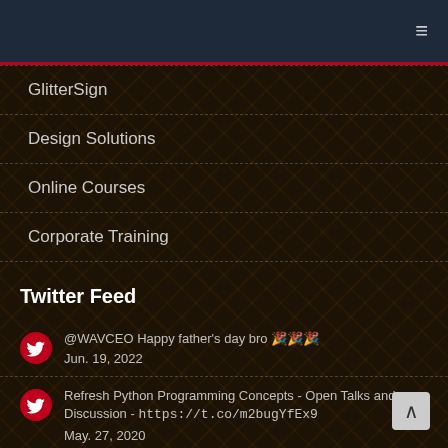GlitterSign
GlitterSign
Design Solutions
Online Courses
Corporate Training
Twitter Feed
@WAVCEO Happy father's day bro 🎉🎉🎉
Jun. 19, 2022
Refresh Python Programming Concepts - Open Talks and Discussion - https://t.co/m2bugYfEx9
May. 27, 2020